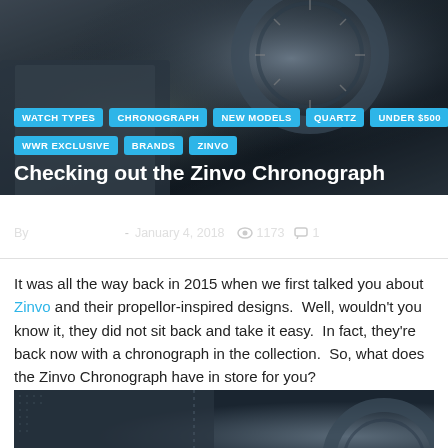[Figure (photo): Close-up photo of a dark chronograph watch being held, showing the bezel and dial details]
WATCH TYPES
CHRONOGRAPH
NEW MODELS
QUARTZ
UNDER $500
WWR EXCLUSIVE
BRANDS
ZINVO
Checking out the Zinvo Chronograph
By Patrick Kansa - January 4, 2018  👁 1173  💬 1
It was all the way back in 2015 when we first talked you about Zinvo and their propellor-inspired designs.  Well, wouldn't you know it, they did not sit back and take it easy.  In fact, they're back now with a chronograph in the collection.  So, what does the Zinvo Chronograph have in store for you?
[Figure (photo): Close-up photo of a dark watch strap with stitching and the watch bezel/dial visible at the bottom right]